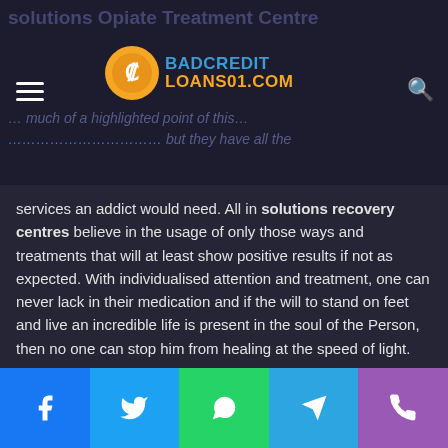solutions Opiate Treatment Centre
[Figure (logo): BadCreditLoans01.com logo with orange coin icon]
services an addict would need. All in solutions recovery centres believe in the usage of only those ways and treatments that will at least show positive results if not as expected. With individualised attention and treatment, one can never lack in their medication and if the will to stand on feet and live an incredible life is present in the soul of the Person, then no one can stop him from healing at the speed of light.
Following are all the major facilities provided by All in solutions drug rehab New Jersey:
BI weekly Chiropractor – All in solutions proudly
Facebook | Twitter | WhatsApp | Telegram | Phone